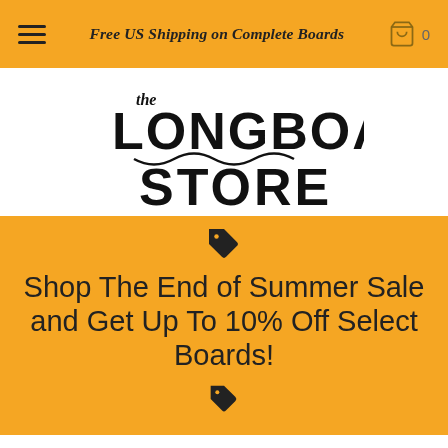Free US Shipping on Complete Boards
[Figure (logo): The Longboard Store logo with stylized text and wave underline]
Shop The End of Summer Sale and Get Up To 10% Off Select Boards!
Landyachtz, and Sector 9. By shopping with us, you're guaranteed free USA shipping and no sales tax. Start browsing our high quality selection today and find the longboard that perfectly matches your riding style.